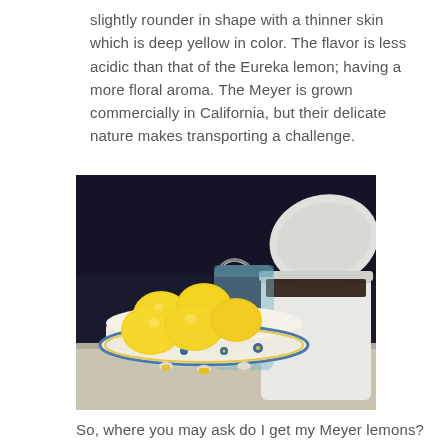slightly rounder in shape with a thinner skin which is deep yellow in color. The flavor is less acidic than that of the Eureka lemon; having a more floral aroma. The Meyer is grown commercially in California, but their delicate nature makes transporting a challenge.
[Figure (photo): A ceramic bowl with floral blue and yellow pattern filled with bright yellow Meyer lemons, a glass mason jar in the background, and a white enamel container with an open lid on the right, all on a light surface against a dark background.]
So, where you may ask do I get my Meyer lemons?